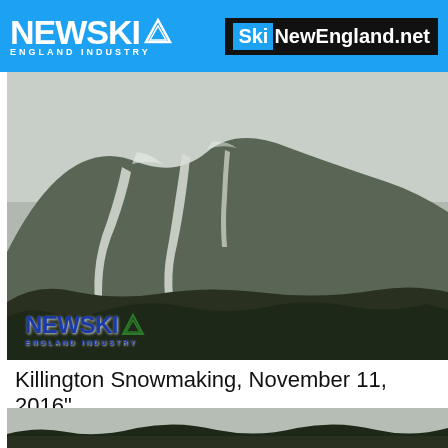NEW SKI ENGLAND INDUSTRY | SkiNewEngland.net
[Figure (photo): Mountain ski slopes at Killington showing snowmaking on trails, dark forested lower slopes, overcast sky. NEWSKI ENGLAND INDUSTRY logo overlay at bottom left.]
Killington Snowmaking, November 11, 2016"
[Figure (photo): Bottom portion of second photo showing tree line silhouette against overcast sky, partially visible.]